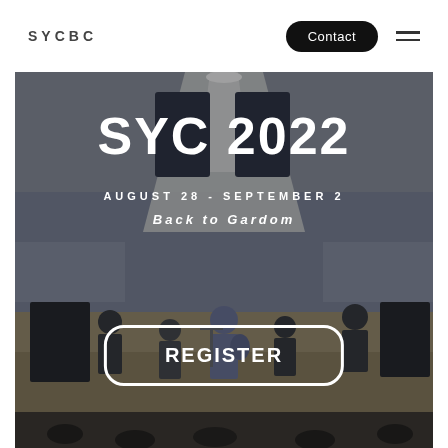SYCBC
Contact
[Figure (photo): Indoor worship/concert hall with a band performing on stage. Musicians with guitars and other instruments visible. A large decorative funnel/cone structure hangs from the ceiling. Projection screens visible on the sides showing text. Audience seated in the foreground. The image is overlaid with the SYC 2022 event text and a Register button.]
SYC 2022
AUGUST 28 - SEPTEMBER 2
Back to Gardom
REGISTER